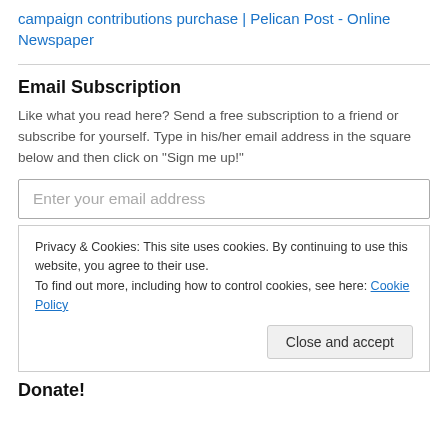campaign contributions purchase | Pelican Post - Online Newspaper
Email Subscription
Like what you read here? Send a free subscription to a friend or subscribe for yourself. Type in his/her email address in the square below and then click on “Sign me up!”
Enter your email address
Privacy & Cookies: This site uses cookies. By continuing to use this website, you agree to their use.
To find out more, including how to control cookies, see here: Cookie Policy
Close and accept
Donate!